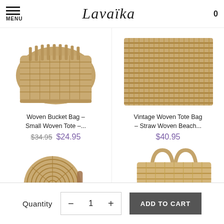MENU | Lavaika | 0
[Figure (photo): Woven straw bucket bag with fringe detail, close-up product photo on white background]
Woven Bucket Bag – Small Woven Tote –...
$34.95  $24.95
[Figure (photo): Vintage woven tote bag, straw woven beach bag, close-up product photo on white background]
Vintage Woven Tote Bag – Straw Woven Beach...
$40.95
[Figure (photo): Round woven rattan crossbody bag with leather strap, product photo on white background]
[Figure (photo): Large woven straw tote bag with leather handles, product photo on white background]
Quantity  −  1  +  ADD TO CART